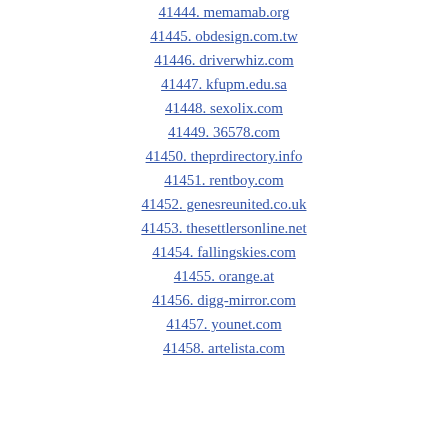41444. memamab.org
41445. obdesign.com.tw
41446. driverwhiz.com
41447. kfupm.edu.sa
41448. sexolix.com
41449. 36578.com
41450. theprdirectory.info
41451. rentboy.com
41452. genesreunited.co.uk
41453. thesettlersonline.net
41454. fallingskies.com
41455. orange.at
41456. digg-mirror.com
41457. younet.com
41458. artelista.com